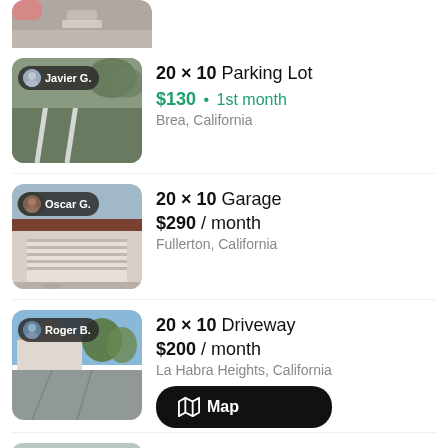[Figure (photo): Partial thumbnail of a parking lot listing at top of page, cropped]
20 × 10 Parking Lot • $130 1st month • Brea, California • Host: Javier G.
20 × 10 Garage • $290 / month • Fullerton, California • Host: Oscar G.
20 × 10 Driveway • $200 / month • La Habra Heights, California • Host: Roger B.
20 × 10 Driveway • Host: Trung N.